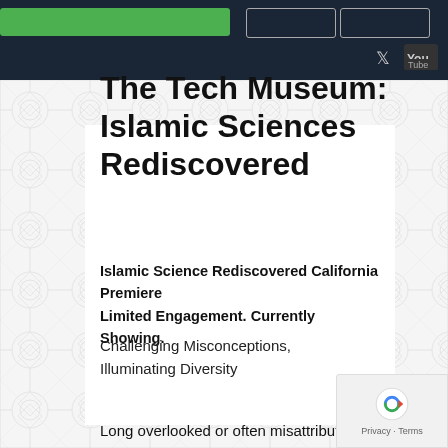[Navigation bar with green button, outline buttons, Twitter and YouTube icons]
The Tech Museum: Islamic Sciences Rediscovered
Islamic Science Rediscovered California Premiere Limited Engagement. Currently Showing.
Challenging Misconceptions, Illuminating Diversity
Long overlooked or often misattributed